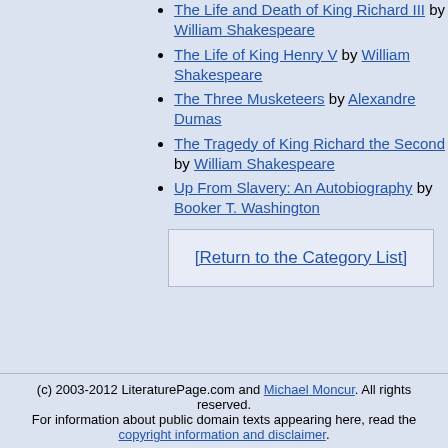The Life and Death of King Richard III by William Shakespeare
The Life of King Henry V by William Shakespeare
The Three Musketeers by Alexandre Dumas
The Tragedy of King Richard the Second by William Shakespeare
Up From Slavery: An Autobiography by Booker T. Washington
[Return to the Category List]
(c) 2003-2012 LiteraturePage.com and Michael Moncur. All rights reserved. For information about public domain texts appearing here, read the copyright information and disclaimer.